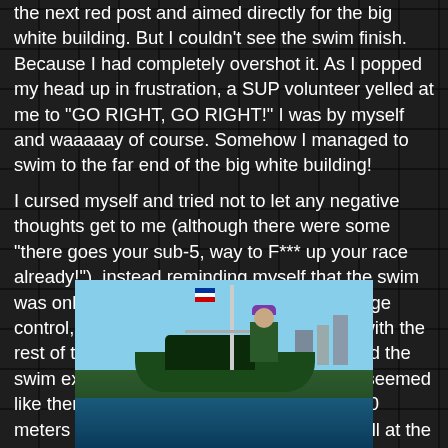the next red post and aimed directly for the big white building. But I couldn't see the swim finish. Because I had completely overshot it. As I popped my head up in frustration, a SUP volunteer yelled at me to "GO RIGHT, GO RIGHT!" I was by myself and waaaaay of course. Somehow I managed to swim to the far end of the big white building!
I cursed myself and tried not to let any negative thoughts get to me (although there were some "there goes your sub-5, way to F*** up your race already!"), instead reminding myself that the swim was only a short part of a 5-hour day. Damage control, damage control! I aimed to join up with the rest of the swimmers, and as we approached the swim exit, I found that it took FOREVER. It seemed like there was a cross-current those final 300 meters in the swim. So evil, like a huge uphill at the end of a running race!
[Figure (photo): A person wearing a purple swim cap on a boat with a mast and Australian-style flag, with city buildings visible in the background against a blue sky]